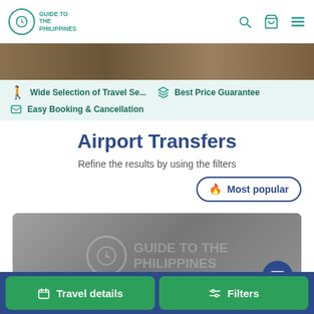Guide to the Philippines
[Figure (photo): Hero banner image of Philippine landscape/travel scene]
Wide Selection of Travel Se...  Best Price Guarantee  Easy Booking & Cancellation
Airport Transfers
Refine the results by using the filters
Most popular
[Figure (photo): Card preview image with Guide to the Philippines watermark logo]
Travel details  Filters